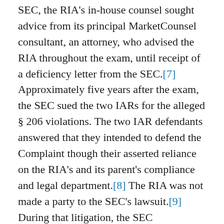SEC, the RIA's in-house counsel sought advice from its principal MarketCounsel consultant, an attorney, who advised the RIA throughout the exam, until receipt of a deficiency letter from the SEC.[7] Approximately five years after the exam, the SEC sued the two IARs for the alleged § 206 violations. The two IAR defendants answered that they intended to defend the Complaint though their asserted reliance on the RIA's and its parent's compliance and legal department.[8] The RIA was not made a party to the SEC's lawsuit.[9] During that litigation, the SEC subpoenaed documents from MarketCounsel and the RIA. The RIA firm objected to the subpoenas, seeking to shield as attorney-client privileged over 230 communications passing between the RIA's in-house counsel and the compliance consultant.[10]